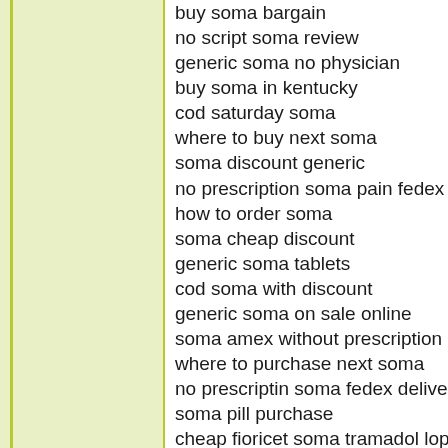buy soma bargain
no script soma review
generic soma no physician
buy soma in kentucky
cod saturday soma
where to buy next soma
soma discount generic
no prescription soma pain fedex
how to order soma
soma cheap discount
generic soma tablets
cod soma with discount
generic soma on sale online
soma amex without prescription
where to purchase next soma
no prescriptin soma fedex delivery
soma pill purchase
cheap fioricet soma tramadol lopid
how to purchase soma
pharmacy carisprodal soma portugal
want to buy soma
cheap soma